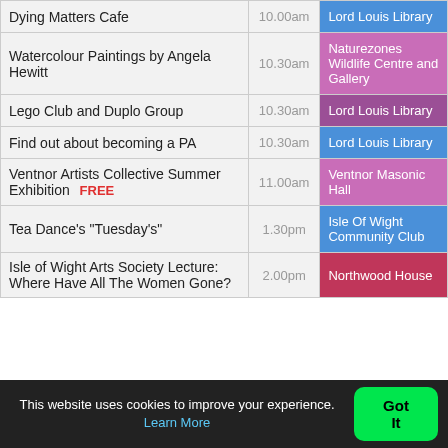| Event | Time | Venue |
| --- | --- | --- |
| Dying Matters Cafe | 10.00am | Lord Louis Library |
| Watercolour Paintings by Angela Hewitt | 10.30am | Naturezones Wildlife Centre and Gallery |
| Lego Club and Duplo Group | 10.30am | Lord Louis Library |
| Find out about becoming a PA | 10.30am | Lord Louis Library |
| Ventnor Artists Collective Summer Exhibition  FREE | 11.00am | Ventnor Masonic Hall |
| Tea Dance's "Tuesday's" | 1.30pm | Isle Of Wight Community Club |
| Isle of Wight Arts Society Lecture: Where Have All The Women Gone? | 2.00pm | Northwood House |
This website uses cookies to improve your experience. Learn More